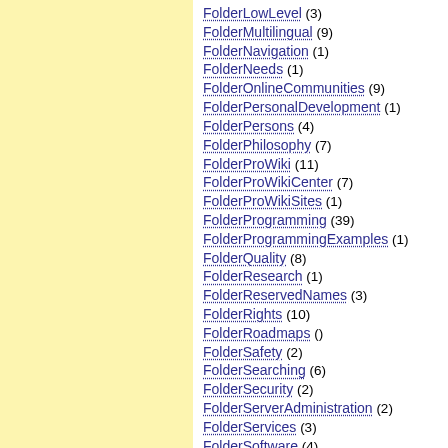FolderLowLevel (3)
FolderMultilingual (9)
FolderNavigation (1)
FolderNeeds (1)
FolderOnlineCommunities (9)
FolderPersonalDevelopment (1)
FolderPersons (4)
FolderPhilosophy (7)
FolderProWiki (11)
FolderProWikiCenter (7)
FolderProWikiSites (1)
FolderProgramming (39)
FolderProgrammingExamples (1)
FolderQuality (8)
FolderResearch (1)
FolderReservedNames (3)
FolderRights (10)
FolderRoadmaps ()
FolderSafety (2)
FolderSearching (6)
FolderSecurity (2)
FolderServerAdministration (2)
FolderServices (3)
FolderSoftware (4)
FolderSpam (9)